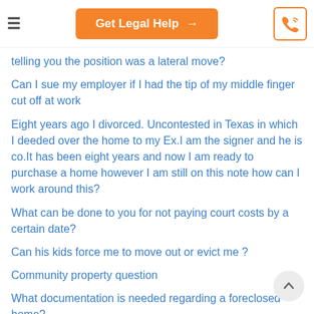Get Legal Help →
telling you the position was a lateral move?
Can I sue my employer if I had the tip of my middle finger cut off at work
Eight years ago I divorced. Uncontested in Texas in which I deeded over the home to my Ex.I am the signer and he is co.It has been eight years and now I am ready to purchase a home however I am still on this note how can I work around this?
What can be done to you for not paying court costs by a certain date?
Can his kids force me to move out or evict me ?
Community property question
What documentation is needed regarding a foreclosed home?
Can you work without filling out any paperwork?